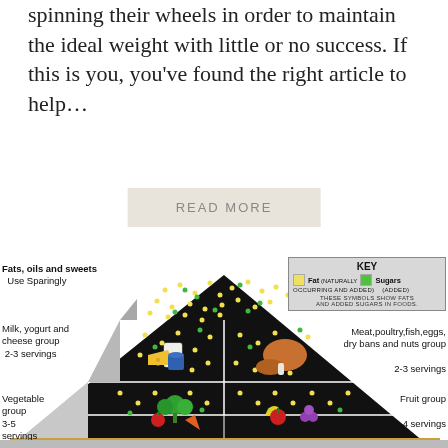spinning their wheels in order to maintain the ideal weight with little or no success. If this is you, you've found the right article to help…
READ MORE
[Figure (infographic): Food pyramid diagram showing six food groups with serving recommendations: Fats oils and sweets (Use Sparingly) at top; Milk yogurt and cheese group (2-3 servings) and Meat poultry fish eggs dry bans and nuts group (2-3 servings) in middle; Vegetable group (3-5 servings) and Fruit group (2-4 servings) below; Bread rice cereal and pasta group at base. KEY shows Fat (naturally occurring and added) as yellow squares and Sugars (added) as green squares.]